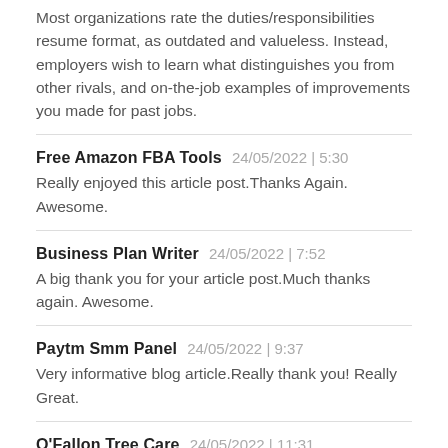Most organizations rate the duties/responsibilities resume format, as outdated and valueless. Instead, employers wish to learn what distinguishes you from other rivals, and on-the-job examples of improvements you made for past jobs.
Free Amazon FBA Tools   24/05/2022 | 5:30
Really enjoyed this article post.Thanks Again. Awesome.
Business Plan Writer   24/05/2022 | 7:52
A big thank you for your article post.Much thanks again. Awesome.
Paytm Smm Panel   24/05/2022 | 9:37
Very informative blog article.Really thank you! Really Great.
O'Fallon Tree Care   24/05/2022 | 11:31
Thank you for your post.Much thanks again. Really Great.